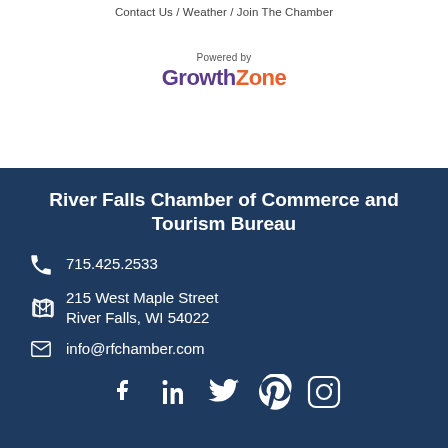Contact Us / Weather / Join The Chamber
[Figure (logo): Powered by GrowthZone logo — 'Growth' in purple bold, 'Zone' in orange bold]
River Falls Chamber of Commerce and Tourism Bureau
715.425.2533
215 West Maple Street
River Falls, WI 54022
info@rfchamber.com
[Figure (other): Social media icons: Facebook, LinkedIn, Twitter, Pinterest, Instagram]